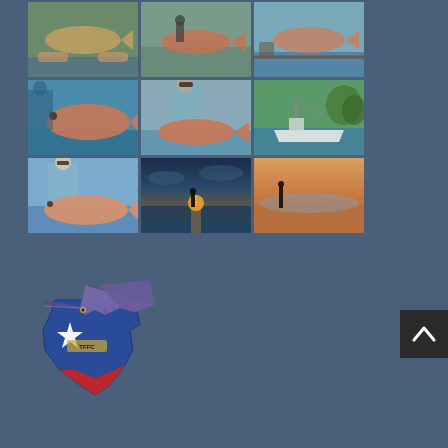[Figure (photo): 3x3 grid of fishing photos showing redfish catches, a boat on water, sunset scenes, and coastal landscapes]
[Figure (logo): Texas state shaped logo with a marlin/sailfish and star, colored blue, red and white - appears to be a Texas fishing organization logo]
[Figure (other): Scroll-to-top button with upward chevron arrow on dark background]